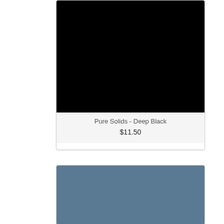[Figure (photo): Product card showing a pure black color swatch fabric sample with product name 'Pure Solids - Deep Black' and price '$11.50' below]
Pure Solids - Deep Black
$11.50
[Figure (photo): Bottom portion of a product card showing a muted steel blue color swatch fabric sample]